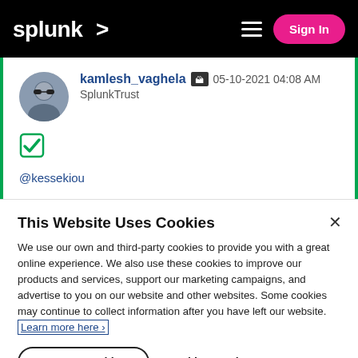splunk> Sign In
kamlesh_vaghela [badge] 05-10-2021 04:08 AM
SplunkTrust
[Figure (illustration): Green checkbox checkmark icon]
@kessekiou
This Website Uses Cookies
We use our own and third-party cookies to provide you with a great online experience. We also use these cookies to improve our products and services, support our marketing campaigns, and advertise to you on our website and other websites. Some cookies may continue to collect information after you have left our website. Learn more here ›
Accept Cookies   Cookies Settings ›